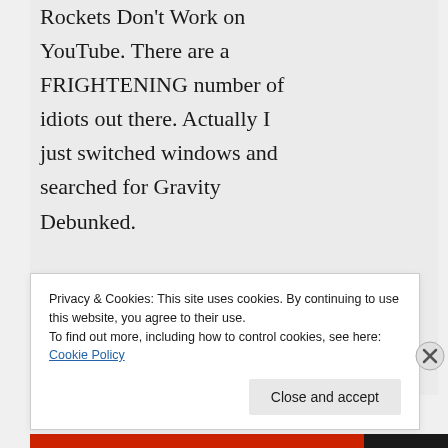Rockets Don't Work on YouTube. There are a FRIGHTENING number of idiots out there. Actually I just switched windows and searched for Gravity Debunked. Weep for the Betsy DeVos-like scholars of the Internet.
★ Like
Privacy & Cookies: This site uses cookies. By continuing to use this website, you agree to their use. To find out more, including how to control cookies, see here: Cookie Policy
Close and accept